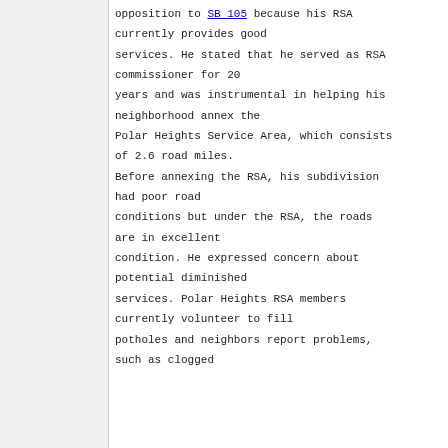opposition to SB 105 because his RSA currently provides good services. He stated that he served as RSA commissioner for 20 years and was instrumental in helping his neighborhood annex the Polar Heights Service Area, which consists of 2.6 road miles. Before annexing the RSA, his subdivision had poor road conditions but under the RSA, the roads are in excellent condition. He expressed concern about potential diminished services. Polar Heights RSA members currently volunteer to fill potholes and neighbors report problems, such as clogged